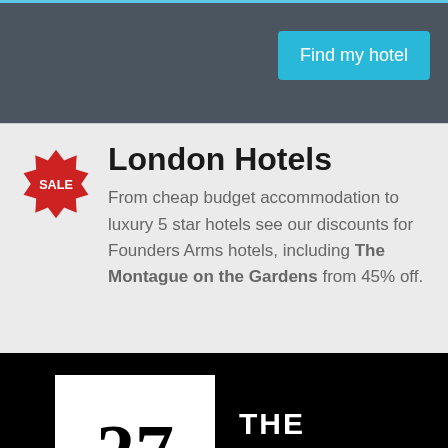Find my hotel
London Hotels
From cheap budget accommodation to luxury 5 star hotels see our discounts for Founders Arms hotels, including The Montague on the Gardens from 45% off.
[Figure (logo): 27 YEARS — THE LONDON EXPERTS logo: white box with large '27' and 'YEARS' text beside 'THE LONDON EXPERTS' in white on black background]